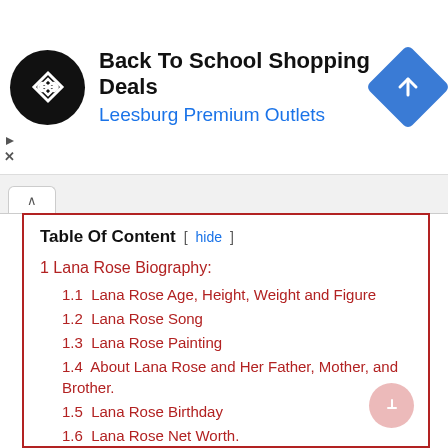[Figure (infographic): Ad banner: Back To School Shopping Deals at Leesburg Premium Outlets with a black circular logo and blue diamond arrow icon]
Table Of Content  [ hide ]
1 Lana Rose Biography:
1.1 Lana Rose Age, Height, Weight and Figure
1.2 Lana Rose Song
1.3 Lana Rose Painting
1.4 About Lana Rose and Her Father, Mother, and Brother.
1.5 Lana Rose Birthday
1.6 Lana Rose Net Worth.
1.7 Lana Rose Favorite Actor, etc
1.8 Lana Rose With Celebrities.
1.9 Some Unknown Fact About Lana Rose